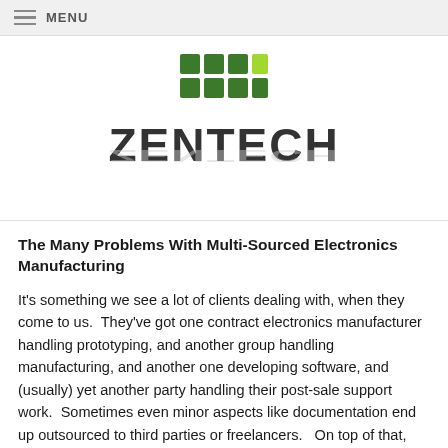MENU
[Figure (logo): Zentech logo with green grid icon above bold ZENTECH text with reflection]
The Many Problems With Multi-Sourced Electronics Manufacturing
It's something we see a lot of clients dealing with, when they come to us.  They've got one contract electronics manufacturer handling prototyping, and another group handling manufacturing, and another one developing software, and (usually) yet another party handling their post-sale support work.  Sometimes even minor aspects like documentation end up outsourced to third parties or freelancers.   On top of that, many of those contractors may have sub-contractors of their own which the original client